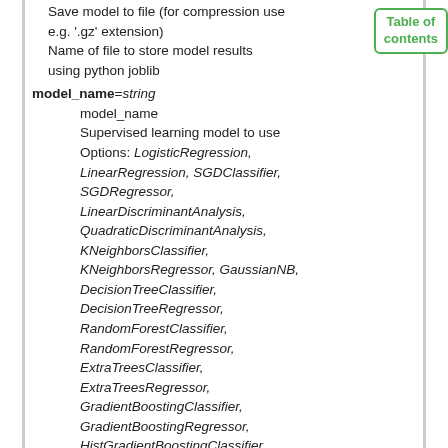Save model to file (for compression use e.g. '.gz' extension)
Name of file to store model results using python joblib
model_name=string
    model_name
    Supervised learning model to use
    Options: LogisticRegression, LinearRegression, SGDClassifier, SGDRegressor, LinearDiscriminantAnalysis, QuadraticDiscriminantAnalysis, KNeighborsClassifier, KNeighborsRegressor, GaussianNB, DecisionTreeClassifier, DecisionTreeRegressor, RandomForestClassifier, RandomForestRegressor, ExtraTreesClassifier, ExtraTreesRegressor, GradientBoostingClassifier, GradientBoostingRegressor, HistGradientBoostingClassifier, HistGradientBoostingRegressor, SVC, SVR, MLPClassifier, MLPRegressor
    Default: RandomForestClassifier